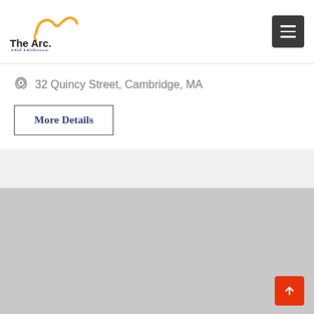[Figure (logo): The Arc Mid-Michigan logo with orange swoosh design]
32 Quincy Street, Cambridge, MA
More Details
19 APR 2021
[Figure (photo): Gray placeholder image 873 x 650]